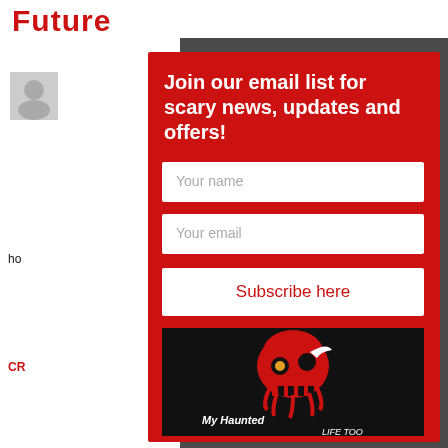Future
ho
CR
[Figure (illustration): Red email signup popup with headline 'Join our email list for scary news, updates and offers!', two input fields (Your name, Your email), and a Subscribe here button, on a red background]
[Figure (logo): My Haunted Life Too logo: red skull graphic with white stylized text on black background]
yo
ha
felt
life
Ap
un
by